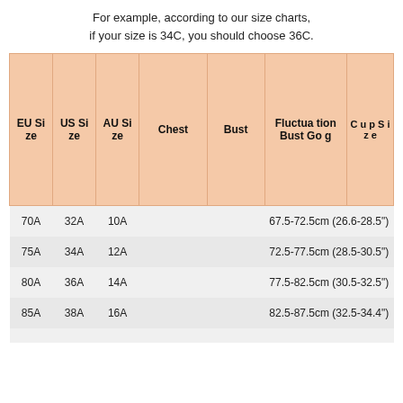For example, according to our size charts, if your size is 34C, you should choose 36C.
| EU Size | US Size | AU Size | Chest | Bust | Fluctuation Bust Gog | Cup Size |
| --- | --- | --- | --- | --- | --- | --- |
| 70A | 32A | 10A |  |  | 67.5-72.5cm (26.6-28.5") |  |
| 75A | 34A | 12A |  |  | 72.5-77.5cm (28.5-30.5") |  |
| 80A | 36A | 14A |  |  | 77.5-82.5cm (30.5-32.5") |  |
| 85A | 38A | 16A |  |  | 82.5-87.5cm (32.5-34.4") |  |
|  |  |  |  |  |  |  |